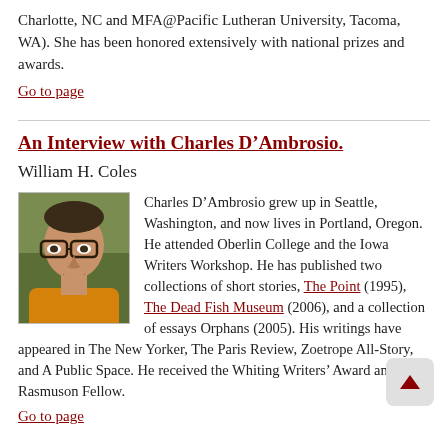Charlotte, NC and MFA@Pacific Lutheran University, Tacoma, WA). She has been honored extensively with national prizes and awards.
Go to page
An Interview with Charles D’Ambrosio.
William H. Coles
[Figure (photo): Headshot photo of Charles D’Ambrosio wearing glasses and a yellow/orange shirt, outdoors]
Charles D’Ambrosio grew up in Seattle, Washington, and now lives in Portland, Oregon. He attended Oberlin College and the Iowa Writers Workshop. He has published two collections of short stories, The Point (1995), The Dead Fish Museum (2006), and a collection of essays Orphans (2005). His writings have appeared in The New Yorker, The Paris Review, Zoetrope All-Story, and A Public Space. He received the Whiting Writers’ Award and is a Rasmuson Fellow.
Go to page